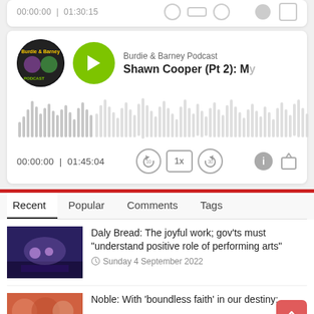[Figure (screenshot): Podcast player card for Burdie & Barney Podcast, episode 'Shawn Cooper (Pt 2): M...' with waveform and controls showing 00:00:00 | 01:45:04]
Burdie & Barney Podcast
Shawn Cooper (Pt 2): My
00:00:00  |  01:45:04
Recent   Popular   Comments   Tags
Daly Bread: The joyful work; gov'ts must "understand positive role of performing arts"
Sunday 4 September 2022
Noble: With 'boundless faith' in our destiny;